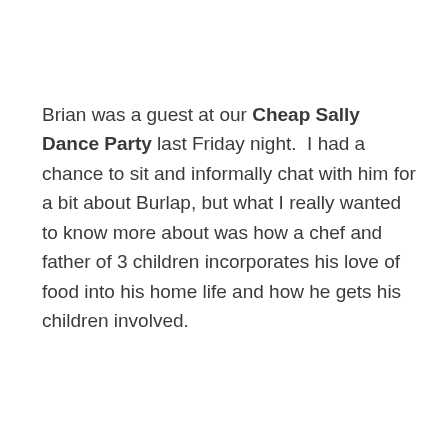Brian was a guest at our Cheap Sally Dance Party last Friday night.  I had a chance to sit and informally chat with him for a bit about Burlap, but what I really wanted to know more about was how a chef and father of 3 children incorporates his love of food into his home life and how he gets his children involved.